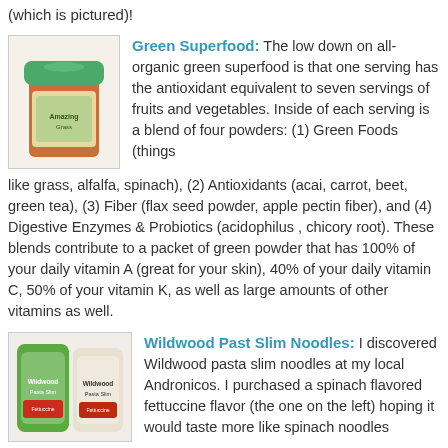(which is pictured)!
[Figure (photo): Orange and green jar of Green Superfood powder]
Green Superfood: The low down on all-organic green superfood is that one serving has the antioxidant equivalent to seven servings of fruits and vegetables. Inside of each serving is a blend of four powders: (1) Green Foods (things like grass, alfalfa, spinach), (2) Antioxidants (acai, carrot, beet, green tea), (3) Fiber (flax seed powder, apple pectin fiber), and (4) Digestive Enzymes & Probiotics (acidophilus , chicory root). These blends contribute to a packet of green powder that has 100% of your daily vitamin A (great for your skin), 40% of your daily vitamin C, 50% of your vitamin K, as well as large amounts of other vitamins as well.
[Figure (photo): Two bags of Wildwood pasta slim noodles, green spinach flavor on left and red flavor on right]
Wildwood Past Slim Noodles: I discovered Wildwood pasta slim noodles at my local Andronicos. I purchased a spinach flavored fettuccine flavor (the one on the left) hoping it would taste more like spinach noodles